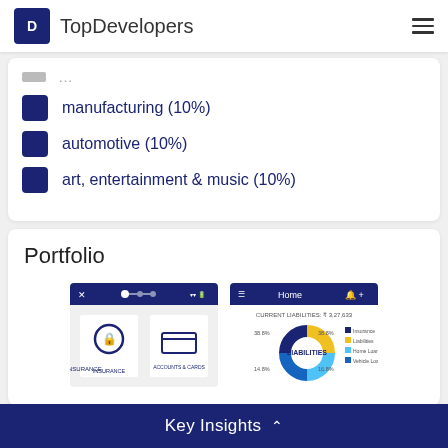TopDevelopers
manufacturing (10%)
automotive (10%)
art, entertainment & music (10%)
Portfolio
[Figure (screenshot): Mobile app screenshot showing Insurance and Accounts & Cards options]
[Figure (screenshot): Mobile app screenshot showing Current Liabilities donut chart with Home screen]
Key Insights